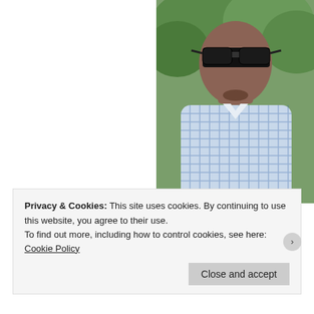[Figure (photo): Close-up photo of a man wearing sunglasses and a blue checked/gingham shirt, with green trees visible in the background. The image is cropped to show only the upper body and face.]
[Pics] Obama's $8.1M Look Inside
Privacy & Cookies: This site uses cookies. By continuing to use this website, you agree to their use.
To find out more, including how to control cookies, see here: Cookie Policy
Close and accept